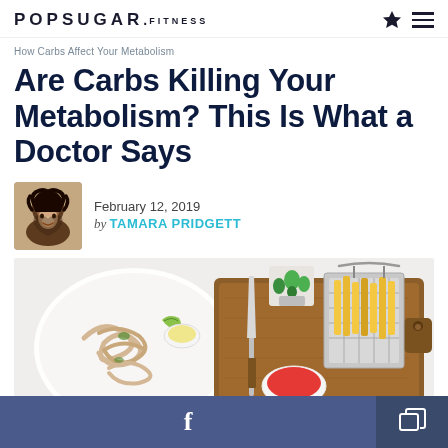POPSUGAR.FITNESS
How Carbs Affect Your Metabolism
Are Carbs Killing Your Metabolism? This Is What a Doctor Says
February 12, 2019
by TAMARA PRIDGETT
[Figure (photo): Food scene showing a plate of noodles with lime and dipping sauce on the left, a small succulent plant in the middle background, and a basket of french fries with ketchup on a wooden cutting board on the right]
f (Facebook share button) and share icon